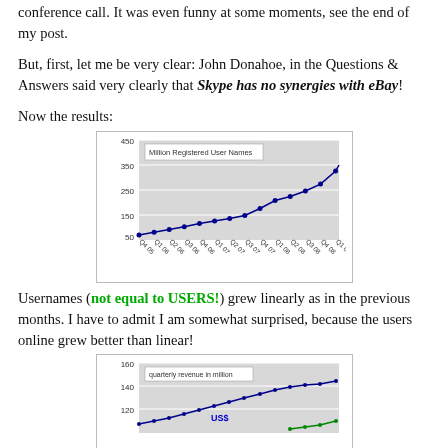conference call. It was even funny at some moments, see the end of my post.
But, first, let me be very clear: John Donahoe, in the Questions & Answers said very clearly that Skype has no synergies with eBay!
Now the results:
[Figure (line-chart): Million Registered User Names]
Usernames (not equal to USERS!) grew linearly as in the previous months. I have to admit I am somewhat surprised, because the users online grew better than linear!
[Figure (line-chart): quarterly revenue in million]